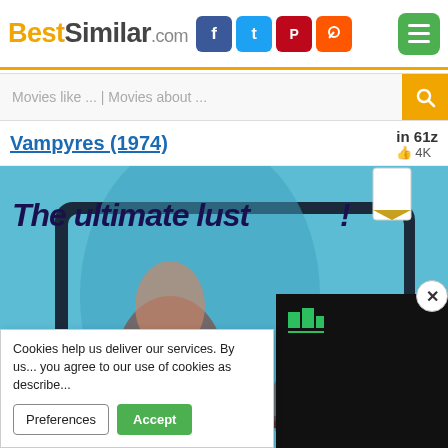BestSimilar.com
Movies like ... | Movies about ...
Vampyres (1974)
👍 4K
[Figure (photo): Movie poster for Vampyres (1974) showing text 'The ultimate lust!' and 'Their lips are moist and very, very...' with two female vampire characters on a blue background]
Cookies help us deliver our services. By us... you agree to our use of cookies as describe...
Preferences
Accept